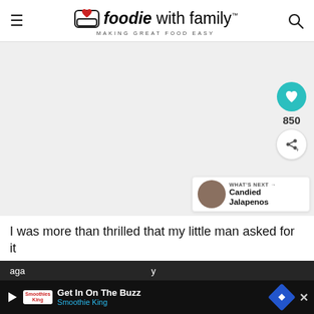foodie with family™ — MAKING GREAT FOOD EASY
[Figure (screenshot): Large blank/white image area for a food recipe photo, with a teal heart button showing 850 saves, a share button, and a 'WHAT'S NEXT → Candied Jalapenos' thumbnail widget at bottom right.]
I was more than thrilled that my little man asked for it
aga... y hus... me (partial text cut off)
[Figure (infographic): Advertisement bar at bottom: Get In On The Buzz — Smoothie King, with play button, logo, blue diamond icon and X close button.]